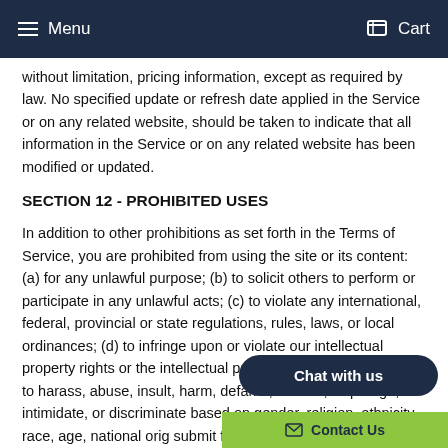Menu | Cart
without limitation, pricing information, except as required by law. No specified update or refresh date applied in the Service or on any related website, should be taken to indicate that all information in the Service or on any related website has been modified or updated.
SECTION 12 - PROHIBITED USES
In addition to other prohibitions as set forth in the Terms of Service, you are prohibited from using the site or its content: (a) for any unlawful purpose; (b) to solicit others to perform or participate in any unlawful acts; (c) to violate any international, federal, provincial or state regulations, rules, laws, or local ordinances; (d) to infringe upon or violate our intellectual property rights or the intellectual property rights of others; (e) to harass, abuse, insult, harm, defame, slander, disparage, intimidate, or discriminate based on gender, religion, ethnicity, race, age, national origin, submit false or misleading information; (g) to submit viruses or any other type of malicious code or any other things that will affect the functioning